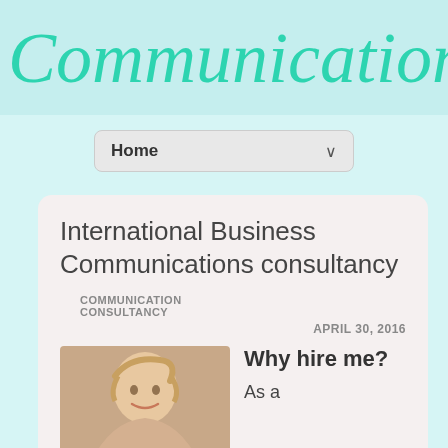Communication
Home ˅
International Business Communications consultancy
COMMUNICATION CONSULTANCY
APRIL 30, 2016
[Figure (photo): Portrait photo of a smiling blonde woman]
Why hire me?
As a